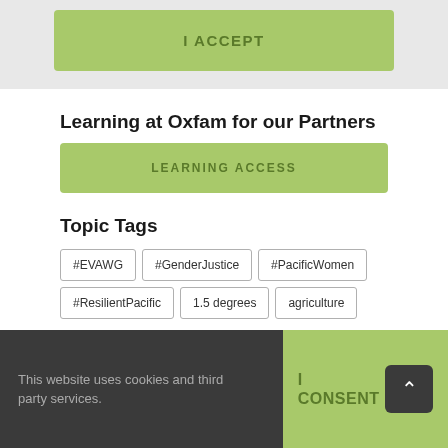[Figure (screenshot): Green 'I ACCEPT' button on a light gray background]
Learning at Oxfam for our Partners
[Figure (screenshot): Green 'LEARNING ACCESS' button]
Topic Tags
#EVAWG
#GenderJustice
#PacificWomen
#ResilientPacific
1.5 degrees
agriculture
This website uses cookies and third party services.
[Figure (screenshot): Green 'I CONSENT' button with dark scroll-to-top arrow button]